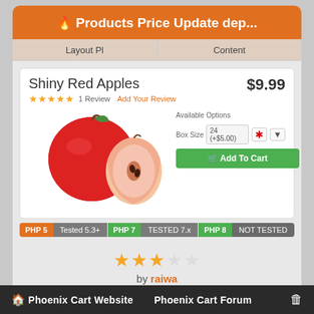Products Price Update dep...
Layout Pl	Content
[Figure (screenshot): Product page for Shiny Red Apples showing apple illustration, price $9.99, star rating with 1 Review, Add Your Review link, Available Options box size selector (24 (+$5.00)), and green Add To Cart button]
PHP 5  Tested 5.3+  PHP 7  TESTED 7.x  PHP 8  NOT TESTED
by raiwa
Paid Addon
24,00 €
Last updated 5 months ago
68 Addons  1  2  3  ▶
Phoenix Cart Website    Phoenix Cart Forum